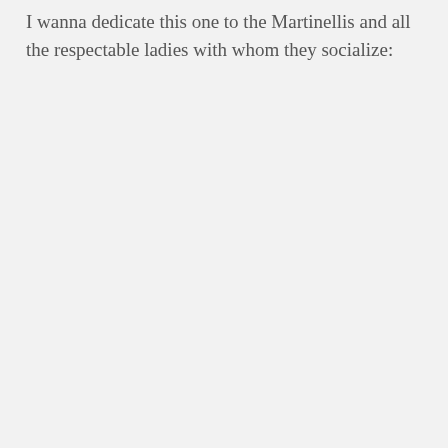I wanna dedicate this one to the Martinellis and all the respectable ladies with whom they socialize: